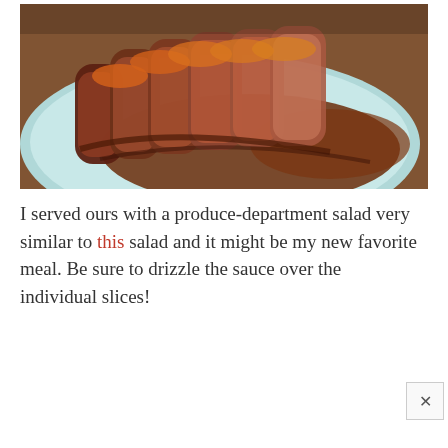[Figure (photo): Sliced pork tenderloin on a light blue plate with brown sauce drizzled over the slices, served on a wooden table]
I served ours with a produce-department salad very similar to this salad and it might be my new favorite meal. Be sure to drizzle the sauce over the individual slices!